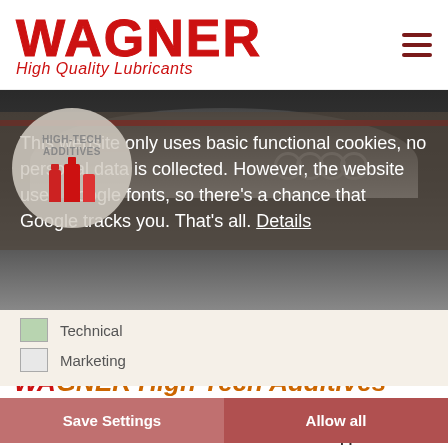[Figure (logo): WAGNER High Quality Lubricants logo — large bold red outlined WAGNER text with italic red subtitle]
[Figure (photo): Dark hero image of a car hood/roof from above with a red stripe accent and a circular product badge showing High-Tech Additives product bottles]
This website only uses basic functional cookies, no personal data is collected. However, the website uses Google fonts, so there's a chance that Google tracks you. That's all. Details
Technical
Marketing
WAGNER High Tech Additives
Our complete range of high quality, self developed and german made oils and additives for modern automotive application.
Save Settings
Allow all